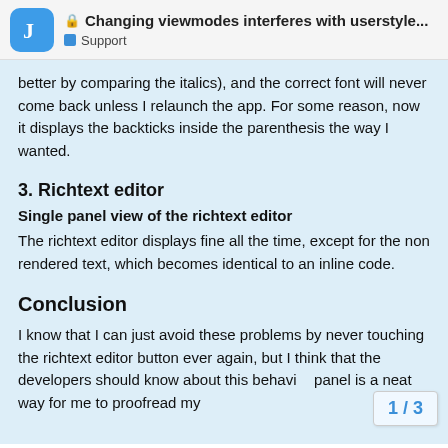Changing viewmodes interferes with userstyle... Support
better by comparing the italics), and the correct font will never come back unless I relaunch the app. For some reason, now it displays the backticks inside the parenthesis the way I wanted.
3. Richtext editor
Single panel view of the richtext editor
The richtext editor displays fine all the time, except for the non rendered text, which becomes identical to an inline code.
Conclusion
I know that I can just avoid these problems by never touching the richtext editor button ever again, but I think that the developers should know about this behavi… panel is a neat way for me to proofread my
1 / 3